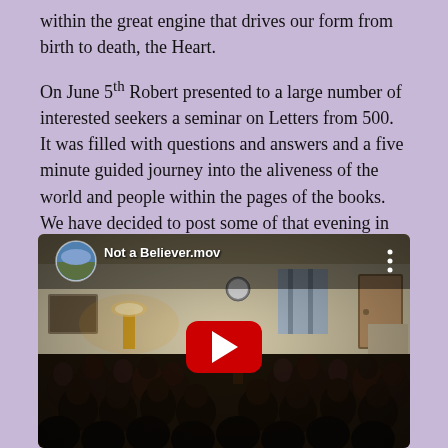within the great engine that drives our form from birth to death, the Heart.
On June 5th Robert presented to a large number of interested seekers a seminar on Letters from 500. It was filled with questions and answers and a five minute guided journey into the aliveness of the world and people within the pages of the books. We have decided to post some of that evening in short video segments. Here is the first:
[Figure (screenshot): Embedded YouTube video thumbnail showing a seminar room filled with seated attendees watching a presenter. The video is titled 'Not a Believer.mov' and displays a YouTube play button overlay in the center.]